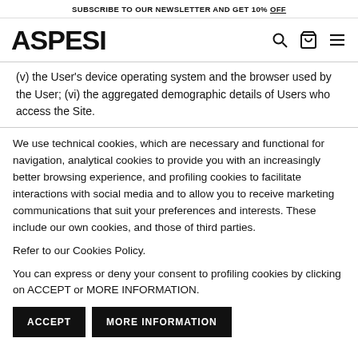SUBSCRIBE TO OUR NEWSLETTER AND GET 10% OFF
ASPESI
(v) the User's device operating system and the browser used by the User; (vi) the aggregated demographic details of Users who access the Site.
We use technical cookies, which are necessary and functional for navigation, analytical cookies to provide you with an increasingly better browsing experience, and profiling cookies to facilitate interactions with social media and to allow you to receive marketing communications that suit your preferences and interests. These include our own cookies, and those of third parties.
Refer to our Cookies Policy.
You can express or deny your consent to profiling cookies by clicking on ACCEPT or MORE INFORMATION.
ACCEPT   MORE INFORMATION